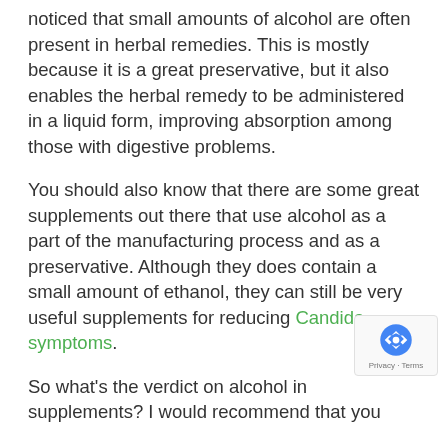noticed that small amounts of alcohol are often present in herbal remedies. This is mostly because it is a great preservative, but it also enables the herbal remedy to be administered in a liquid form, improving absorption among those with digestive problems.
You should also know that there are some great supplements out there that use alcohol as a part of the manufacturing process and as a preservative. Although they does contain a small amount of ethanol, they can still be very useful supplements for reducing Candida symptoms.
So what's the verdict on alcohol in supplements? I would recommend that you